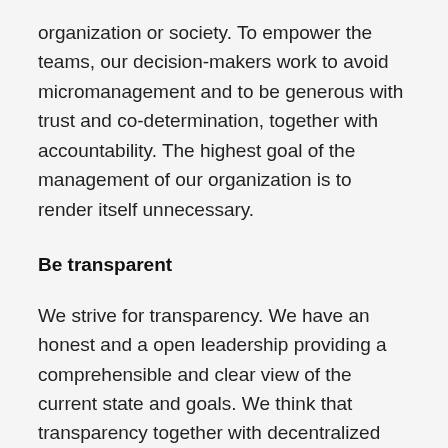organization or society. To empower the teams, our decision-makers work to avoid micromanagement and to be generous with trust and co-determination, together with accountability. The highest goal of the management of our organization is to render itself unnecessary.
Be transparent
We strive for transparency. We have an honest and a open leadership providing a comprehensible and clear view of the current state and goals. We think that transparency together with decentralized decision-making and personal accountability ensures quality work, motivation and effectiveness. Both customers and employees are given enough information to be able to form an opinion and the suggestions and wishes of the